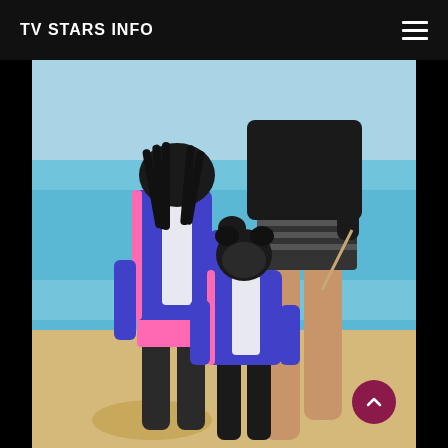TV STARS INFO
[Figure (photo): Beach photo showing two children in blue and pink swimwear/rash guards and the lower body of an adult woman in a black long-sleeve swimsuit with striped bikini bottoms, standing on a sandy beach with clear blue water in the background.]